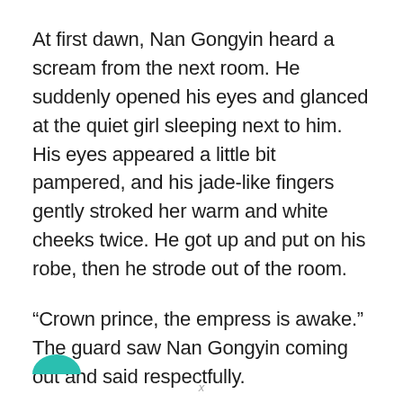At first dawn, Nan Gongyin heard a scream from the next room. He suddenly opened his eyes and glanced at the quiet girl sleeping next to him. His eyes appeared a little bit pampered, and his jade-like fingers gently stroked her warm and white cheeks twice. He got up and put on his robe, then he strode out of the room.
“Crown prince, the empress is awake.” The guard saw Nan Gongyin coming out and said respectfully.